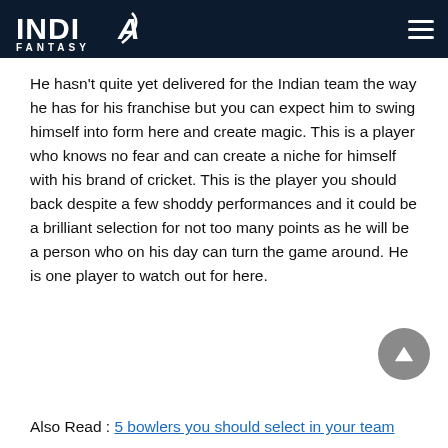INDIA FANTASY
He hasn't quite yet delivered for the Indian team the way he has for his franchise but you can expect him to swing himself into form here and create magic. This is a player who knows no fear and can create a niche for himself with his brand of cricket. This is the player you should back despite a few shoddy performances and it could be a brilliant selection for not too many points as he will be a person who on his day can turn the game around. He is one player to watch out for here.
Also Read : 5 bowlers you should select in your team